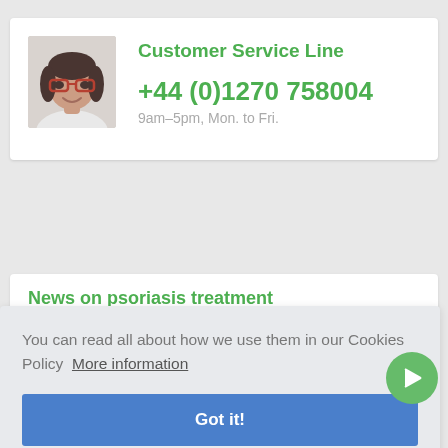[Figure (photo): Portrait photo of a smiling woman with dark hair and glasses]
Customer Service Line
+44 (0)1270 758004
9am–5pm, Mon. to Fri.
News on psoriasis treatment
You can read all about how we use them in our Cookies Policy  More information
Got it!